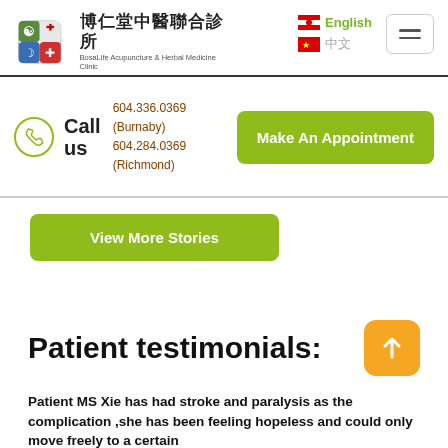[Figure (logo): BosaLife Acupuncture & Herbal Medicine Clinic logo with Chinese characters 博仁堂中醫聯合診所 and decorative symbol]
English
中文
Call us 604.336.0369 (Burnaby) 604.284.0369 (Richmond)
Make An Appointment
View More Stories
Patient testimonials:
Patient MS Xie has had stroke and paralysis as the complication ,she has been feeling hopeless and could only move freely to a certain